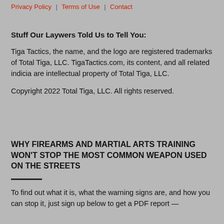Privacy Policy | Terms of Use | Contact
Stuff Our Laywers Told Us to Tell You:
Tiga Tactics, the name, and the logo are registered trademarks of Total Tiga, LLC. TigaTactics.com, its content, and all related indicia are intellectual property of Total Tiga, LLC.
Copyright 2022 Total Tiga, LLC. All rights reserved.
WHY FIREARMS AND MARTIAL ARTS TRAINING WON'T STOP THE MOST COMMON WEAPON USED ON THE STREETS
To find out what it is, what the warning signs are, and how you can stop it, just sign up below to get a PDF report —